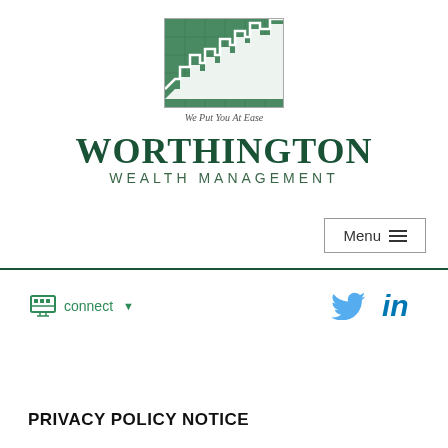[Figure (logo): Worthington Wealth Management logo: green rectangle with white zigzag/mountain chart line and grid lines, bordered box]
We Put You At Ease
WORTHINGTON WEALTH MANAGEMENT
Menu
connect
[Figure (logo): Twitter bird icon in blue]
[Figure (logo): LinkedIn 'in' icon in blue]
PRIVACY POLICY NOTICE